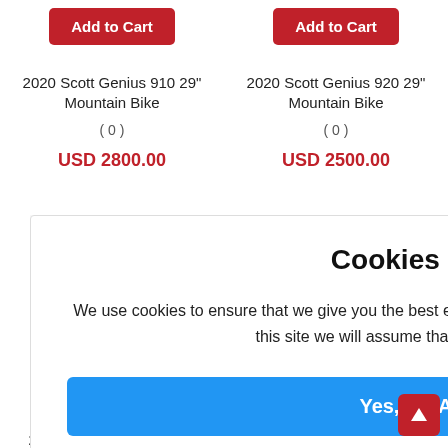2020 Scott Genius 910 29" Mountain Bike
2020 Scott Genius 920 29" Mountain Bike
(0)
(0)
USD 2800.00
USD 2500.00
Cookies Notice
We use cookies to ensure that we give you the best experience on our website. If you continue to use this site we will assume that you are happy with it.
Yes, I'm Accept
Genius 940 29" ntain Bike
(0)
2000.00
2020 Scott Genius 950 29"
2020 Scott Spark RC 900 SL